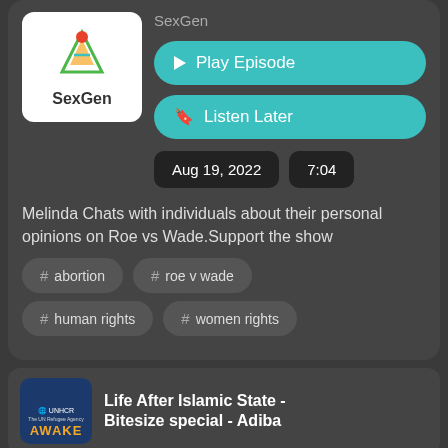[Figure (logo): SexGen podcast logo with colorful arrow/person icon and text SexGen]
SexGen
Play Episode
Listen Later
Aug 19, 2022
7:04
Melinda Chats with individuals about their personal opinions on Roe vs Wade.Support the show
# abortion
# roe v wade
# human rights
# women rights
[Figure (logo): UNHCR AWAKE podcast logo on dark blue background]
Life After Islamic State - Bitesize special - Adiba